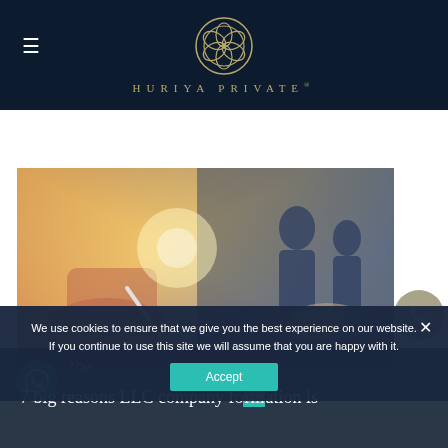HURIYA PRIVATE®
[Figure (photo): Person writing with a pen on paper at a desk, with a bright sunlight background; composite with a business meeting scene in the background]
We use cookies to ensure that we give you the best experience on our website. If you continue to use this site we will assume that you are happy with it.
7 Oct 7 big reasons LLC company formation is